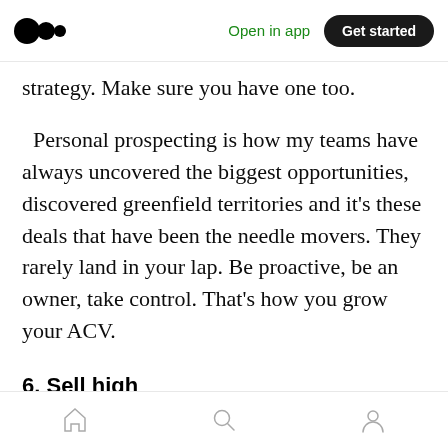Open in app | Get started
strategy. Make sure you have one too.
Personal prospecting is how my teams have always uncovered the biggest opportunities, discovered greenfield territories and it's these deals that have been the needle movers. They rarely land in your lap. Be proactive, be an owner, take control. That's how you grow your ACV.
6. Sell high
Nothing beats connecting with the C-suite. OK it's tough in the Fortune 500, but man it's worth
Home | Search | Profile